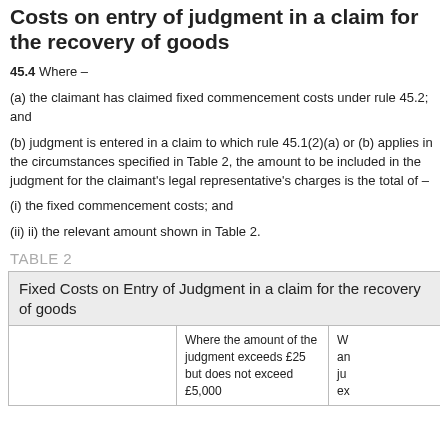Costs on entry of judgment in a claim for the recovery of goods
45.4 Where –
(a) the claimant has claimed fixed commencement costs under rule 45.2; and
(b) judgment is entered in a claim to which rule 45.1(2)(a) or (b) applies in the circumstances specified in Table 2, the amount to be included in the judgment for the claimant's legal representative's charges is the total of –
(i) the fixed commencement costs; and
(ii) ii) the relevant amount shown in Table 2.
TABLE 2
|  | Where the amount of the judgment exceeds £25 but does not exceed £5,000 | W an ju ex |
| --- | --- | --- |
| Fixed Costs on Entry of Judgment in a claim for the recovery of goods |  |  |